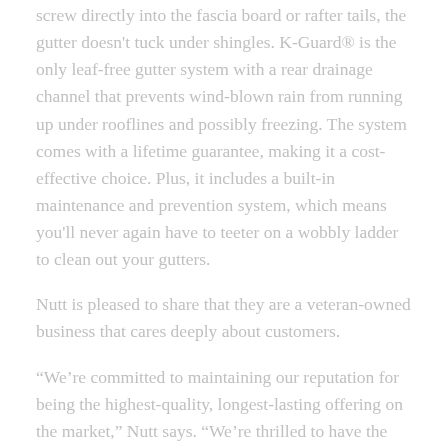screw directly into the fascia board or rafter tails, the gutter doesn't tuck under shingles. K-Guard® is the only leaf-free gutter system with a rear drainage channel that prevents wind-blown rain from running up under rooflines and possibly freezing. The system comes with a lifetime guarantee, making it a cost-effective choice. Plus, it includes a built-in maintenance and prevention system, which means you'll never again have to teeter on a wobbly ladder to clean out your gutters.
Nutt is pleased to share that they are a veteran-owned business that cares deeply about customers.
“We’re committed to maintaining our reputation for being the highest-quality, longest-lasting offering on the market,” Nutt says. “We’re thrilled to have the highest level of customer satisfaction of any gutter protection system manufacturer in the country, and we’re sure that if you choose to have our gutter protection system